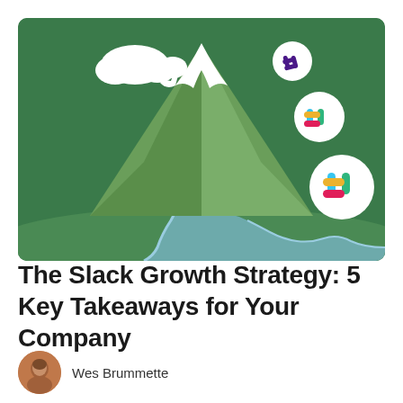[Figure (illustration): Illustration of a green mountain with snow cap and white clouds at top, with three Slack logo icons (hashtag symbols in colored circles) floating to the upper right of the mountain. A winding blue river flows from the base of the mountain across a green landscape.]
The Slack Growth Strategy: 5 Key Takeaways for Your Company
Wes Brummette